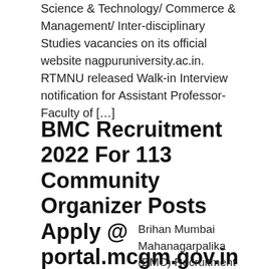Science & Technology/ Commerce & Management/ Inter-disciplinary Studies vacancies on its official website nagpuruniversity.ac.in. RTMNU released Walk-in Interview notification for Assistant Professor- Faculty of [...]
BMC Recruitment 2022 For 113 Community Organizer Posts Apply @ portal.mcgm.gov.in
Brihan Mumbai Mahanagarpalika (BMC) Recruitment 2022: Brihan Mumbai Mahanagarpalika